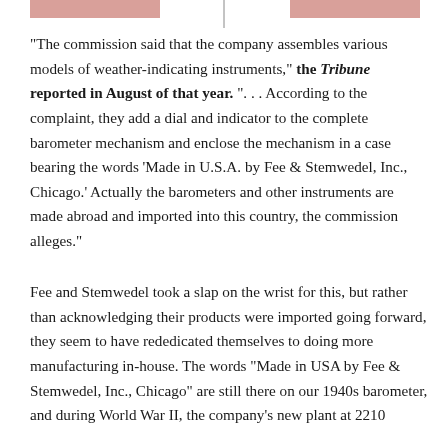[Figure (other): Top decorative bar with two salmon/pink rectangular blocks on left and right, and a vertical line in the center]
“The commission said that the company assembles various models of weather-indicating instruments,” the Tribune reported in August of that year. “. . . According to the complaint, they add a dial and indicator to the complete barometer mechanism and enclose the mechanism in a case bearing the words ‘Made in U.S.A. by Fee & Stemwedel, Inc., Chicago.’ Actually the barometers and other instruments are made abroad and imported into this country, the commission alleges.”
Fee and Stemwedel took a slap on the wrist for this, but rather than acknowledging their products were imported going forward, they seem to have rededicated themselves to doing more manufacturing in-house. The words “Made in USA by Fee & Stemwedel, Inc., Chicago” are still there on our 1940s barometer, and during World War II, the company’s new plant at 2210